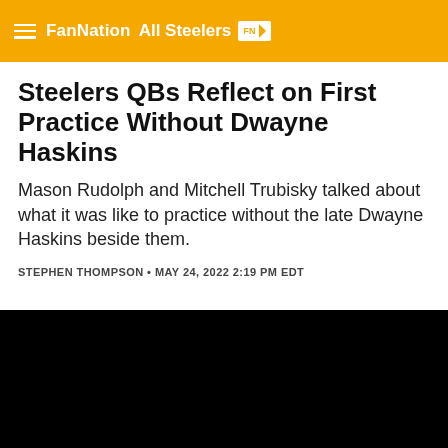FanNation All Steelers FN
Steelers QBs Reflect on First Practice Without Dwayne Haskins
Mason Rudolph and Mitchell Trubisky talked about what it was like to practice without the late Dwayne Haskins beside them.
STEPHEN THOMPSON • MAY 24, 2022 2:19 PM EDT
[Figure (photo): Black/dark area representing an image below the article header]